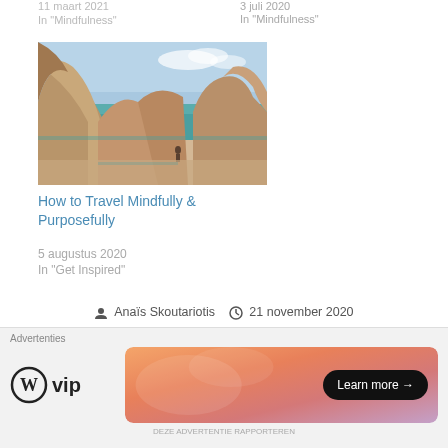In "Mindfulness"
3 juli 2020
In "Mindfulness"
[Figure (photo): A coastal beach scene with large sandstone rock formations, clear turquoise water, and a lone person standing on the sandy beach under a partly cloudy sky.]
How to Travel Mindfully & Purposefully
5 augustus 2020
In "Get Inspired"
Anaïs Skoutariotis   21 november 2020
Get Inspired, Mindfulness
Lifestyle, Meditation, Mindful living, Mindfulness,
[Figure (advertisement): WordPress VIP advertisement banner with gradient orange/pink background and a Learn more button]